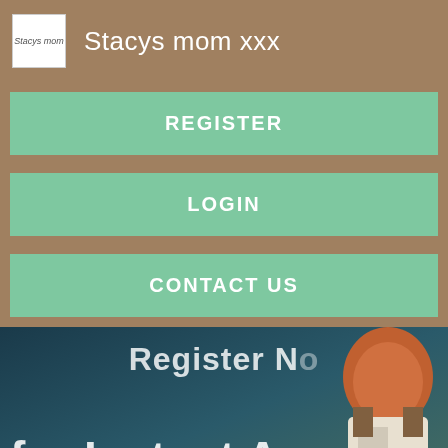Stacys mom xxx
REGISTER
LOGIN
CONTACT US
[Figure (screenshot): Banner image showing text 'Register N...' and 'for Instant A...' with a dark teal background and cartoon character on the right side]